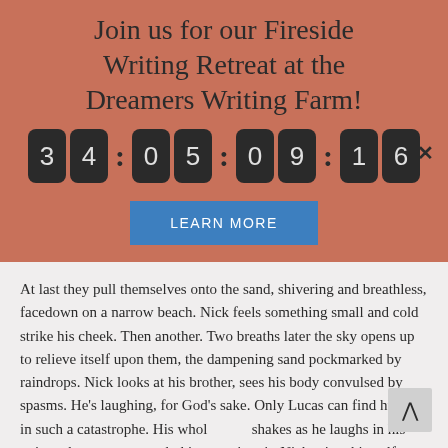Join us for our Fireside Writing Retreat at the Dreamers Writing Farm!
[Figure (other): Countdown timer showing 34:05:09:16 with dark digit blocks on terracotta background, and a LEARN MORE button below]
At last they pull themselves onto the sand, shivering and breathless, facedown on a narrow beach. Nick feels something small and cold strike his cheek. Then another. Two breaths later the sky opens up to relieve itself upon them, the dampening sand pockmarked by raindrops. Nick looks at his brother, sees his body convulsed by spasms. He's laughing, for God's sake. Only Lucas can find humour in such a catastrophe. His whole body shakes as he laughs in his quiet, wheezy manner, choking on his spit. Nick raises himself from the sand.